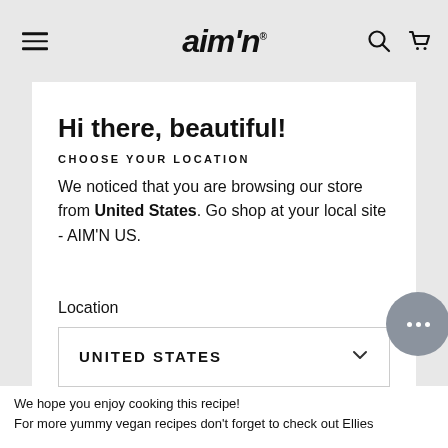aim'n
Hi there, beautiful!
CHOOSE YOUR LOCATION
We noticed that you are browsing our store from United States. Go shop at your local site - AIM'N US.
Location
UNITED STATES
We hope you enjoy cooking this recipe!
For more yummy vegan recipes don't forget to check out Ellies